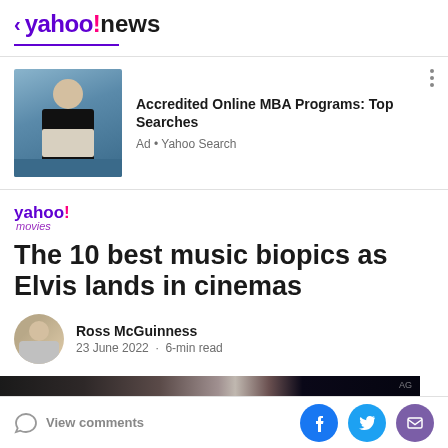< yahoo!news
[Figure (photo): Advertisement banner: woman sitting on blue sofa with laptop. Ad for Accredited Online MBA Programs: Top Searches via Yahoo Search.]
Accredited Online MBA Programs: Top Searches
Ad • Yahoo Search
[Figure (logo): yahoo! movies logo]
The 10 best music biopics as Elvis lands in cinemas
Ross McGuinness
23 June 2022 · 6-min read
[Figure (photo): Hero image collage showing music biopic stills — dark concert lighting and performer faces]
View comments